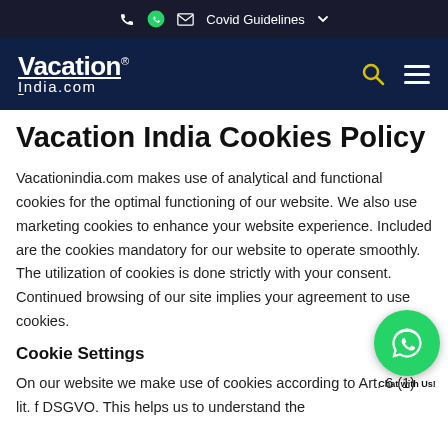☎ WhatsApp ✉ Covid Guidelines
[Figure (logo): VacationIndia.com logo with search and menu icons on dark navy background]
Vacation India Cookies Policy
Vacationindia.com makes use of analytical and functional cookies for the optimal functioning of our website. We also use marketing cookies to enhance your website experience. Included are the cookies mandatory for our website to operate smoothly. The utilization of cookies is done strictly with your consent. Continued browsing of our site implies your agreement to use cookies.
Cookie Settings
On our website we make use of cookies according to Art. 6 (1) lit. f DSGVO. This helps us to understand the